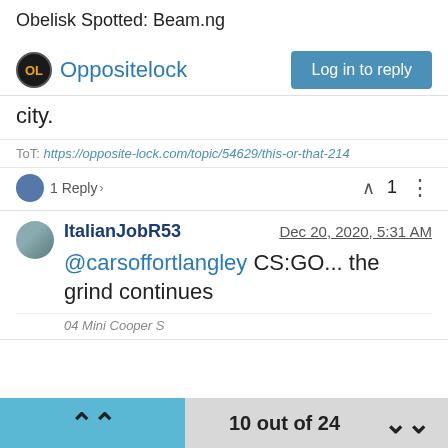Obelisk Spotted: Beam.ng
Oppositelock
city.
ToT: https://opposite-lock.com/topic/54629/this-or-that-214
1 Reply >     1
ItalianJobR53   Dec 20, 2020, 5:31 AM
@carsoffortlangley CS:GO... the grind continues
04 Mini Cooper S
10 out of 24